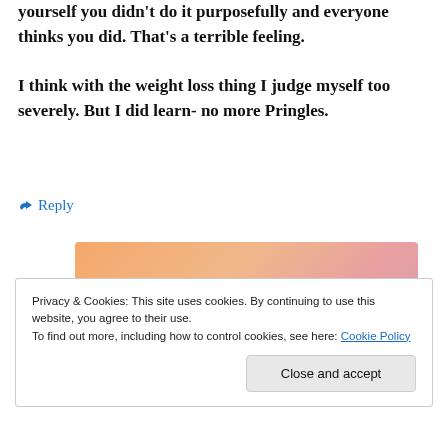yourself you didn't do it purposefully and everyone thinks you did. That's a terrible feeling.

I think with the weight loss thing I judge myself too severely. But I did learn- no more Pringles.
↳ Reply
[Figure (screenshot): Partial WordPress advertisement banner showing text 'WordPress in the back.' on an orange/pink gradient background]
Privacy & Cookies: This site uses cookies. By continuing to use this website, you agree to their use.
To find out more, including how to control cookies, see here: Cookie Policy

Close and accept